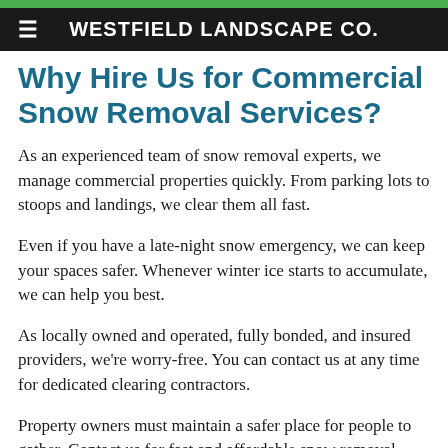WESTFIELD LANDSCAPE CO.
Why Hire Us for Commercial Snow Removal Services?
As an experienced team of snow removal experts, we manage commercial properties quickly. From parking lots to stoops and landings, we clear them all fast.
Even if you have a late-night snow emergency, we can keep your spaces safer. Whenever winter ice starts to accumulate, we can help you best.
As locally owned and operated, fully bonded, and insured providers, we're worry-free. You can contact us at any time for dedicated clearing contractors.
Property owners must maintain a safer place for people to gather. Contact us for fast and affordable snow removal